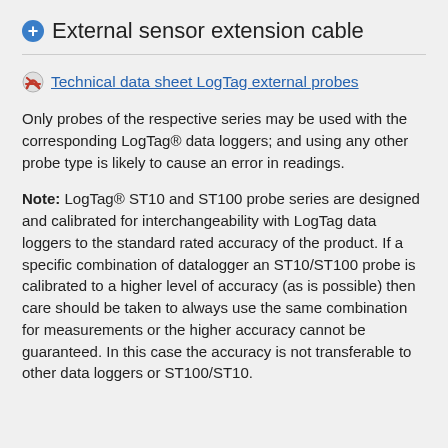External sensor extension cable
Technical data sheet LogTag external probes
Only probes of the respective series may be used with the corresponding LogTag® data loggers; and using any other probe type is likely to cause an error in readings.
Note: LogTag® ST10 and ST100 probe series are designed and calibrated for interchangeability with LogTag data loggers to the standard rated accuracy of the product. If a specific combination of datalogger an ST10/ST100 probe is calibrated to a higher level of accuracy (as is possible) then care should be taken to always use the same combination for measurements or the higher accuracy cannot be guaranteed. In this case the accuracy is not transferable to other data loggers or ST100/ST10.